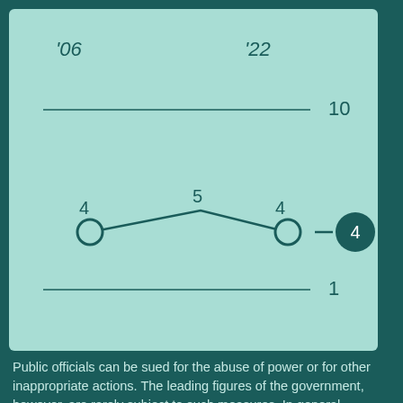[Figure (line-chart): ]
Public officials can be sued for the abuse of power or for other inappropriate actions. The leading figures of the government, however, are rarely subject to such measures. In general, lawsuits against public officials are only conducted in cases of disloyalty.